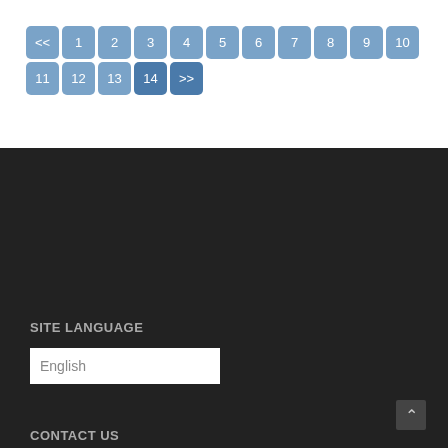[Figure (other): Pagination navigation with buttons: <<, 1, 2, 3, 4, 5, 6, 7, 8, 9, 10, 11, 12, 13, 14, >>]
SITE LANGUAGE
English
CONTACT US
Phone: 011 476 4100
Fax: 086 605 4413
Privacy Policy